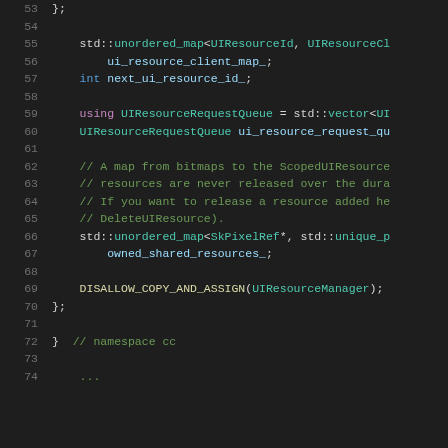Source code listing lines 53-74 showing C++ class definition with UIResourceManager
53    };
54
55    std::unordered_map<UIResourceId, UIResourceCl
56        ui_resource_client_map_;
57    int next_ui_resource_id_;
58
59    using UIResourceRequestQueue = std::vector<UI
60    UIResourceRequestQueue ui_resource_request_qu
61
62    // A map from bitmaps to the ScopedUIResource
63    // resources are never released over the dura
64    // If you want to release a resource added he
65    // DeleteUIResource).
66    std::unordered_map<SkPixelRef*, std::unique_p
67        owned_shared_resources_;
68
69    DISALLOW_COPY_AND_ASSIGN(UIResourceManager);
70  };
71
72  }  // namespace cc
73
74  ...